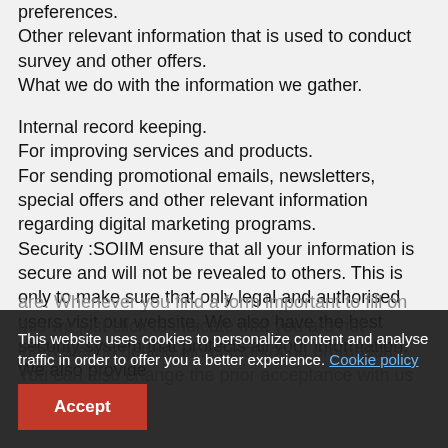preferences.
Other relevant information that is used to conduct survey and other offers.
What we do with the information we gather.
Internal record keeping.
For improving services and products.
For sending promotional emails, newsletters, special offers and other relevant information regarding digital marketing programs.
Security :SOIIM ensure that all your information is secure and will not be revealed to others. This is only to make sure that only legal and authorised users visit our website. We also have the best security system that protects all your information. We also provide
are. Whenever you find a form important to fill on this we just click to indicate that you are not interested in getting direct marketing promotions. You can also change the prior acceptance with us for using
This website uses cookies to personalize content and analyse traffic in order to offer you a better experience. Cookie policy